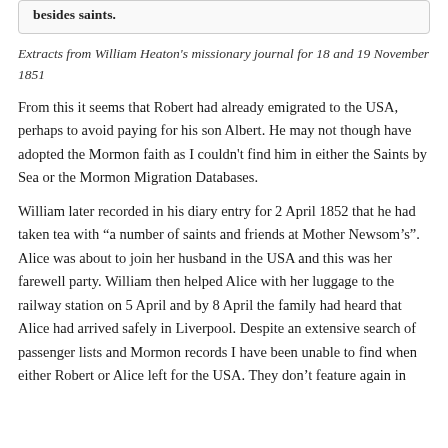[Figure (other): Partial top of a box/quote with bold text 'besides saints.' visible]
Extracts from William Heaton's missionary journal for 18 and 19 November 1851
From this it seems that Robert had already emigrated to the USA, perhaps to avoid paying for his son Albert. He may not though have adopted the Mormon faith as I couldn't find him in either the Saints by Sea or the Mormon Migration Databases.
William later recorded in his diary entry for 2 April 1852 that he had taken tea with “a number of saints and friends at Mother Newsom’s”. Alice was about to join her husband in the USA and this was her farewell party. William then helped Alice with her luggage to the railway station on 5 April and by 8 April the family had heard that Alice had arrived safely in Liverpool. Despite an extensive search of passenger lists and Mormon records I have been unable to find when either Robert or Alice left for the USA. They don’t feature again in